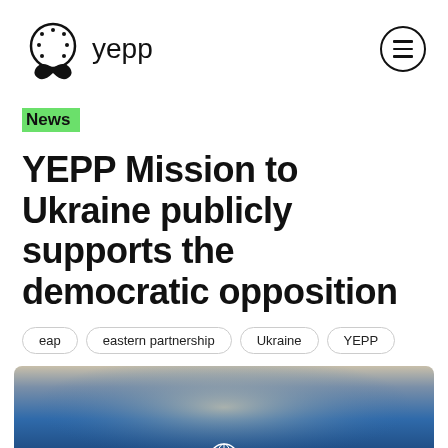yepp
News
YEPP Mission to Ukraine publicly supports the democratic opposition
eap
eastern partnership
Ukraine
YEPP
[Figure (photo): A photo showing an event or press conference setting with a blue gradient background and a white globe/sphere logo symbol at the bottom center, appearing to be a YEPP or EPP related event backdrop.]